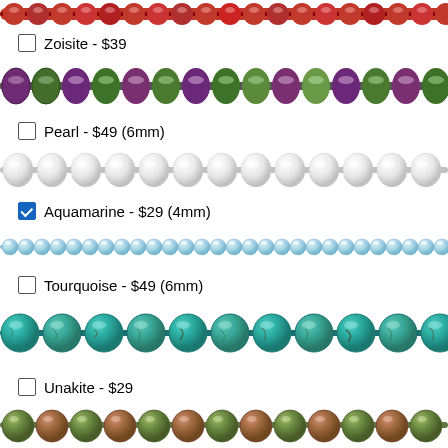[Figure (photo): Red/coral faceted beads strand at top of page, partially cropped]
Zoisite - $39
[Figure (photo): Zoisite beads strand — purple and green mixed faceted rondelle beads]
Pearl - $49 (6mm)
[Figure (photo): Pearl beads strand — white oval freshwater pearls]
Aquamarine - $29 (4mm)
[Figure (photo): Aquamarine beads strand — pale light blue small round beads]
Tourquoise - $49 (6mm)
[Figure (photo): Turquoise beads strand — teal/green-blue round polished beads]
Unakite - $29
[Figure (photo): Unakite beads strand — green and orange-brown round beads, partially cropped at bottom]